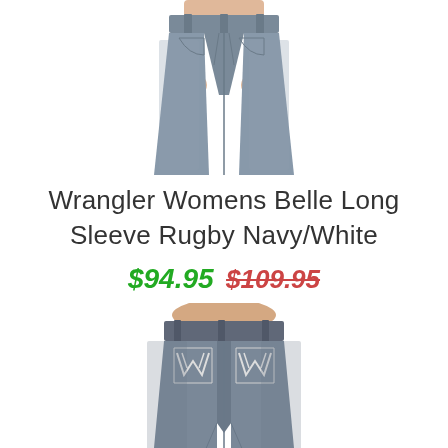[Figure (photo): Top portion of a woman wearing dark grey/blue jeans, cropped view showing torso and hands resting on thighs, front-facing product photo on white background]
Wrangler Womens Belle Long Sleeve Rugby Navy/White
$94.95 $109.95
[Figure (photo): Back view of a woman wearing dark grey/blue Wrangler jeans with decorative white stitching on back pockets, full-length product photo on white background]